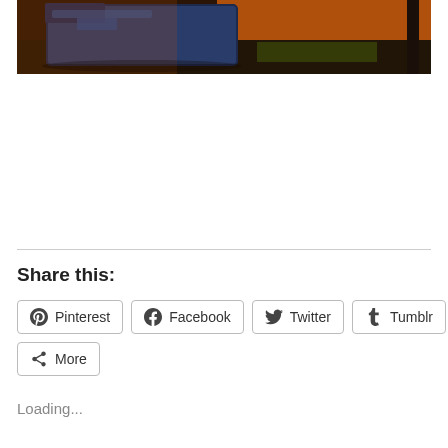[Figure (photo): A tipped-over blue dumpster on a sidewalk at night, illuminated by orange/red ambient light, with grass and a wall visible in the background]
Share this:
Pinterest  Facebook  Twitter  Tumblr  Reddit  More
Loading...